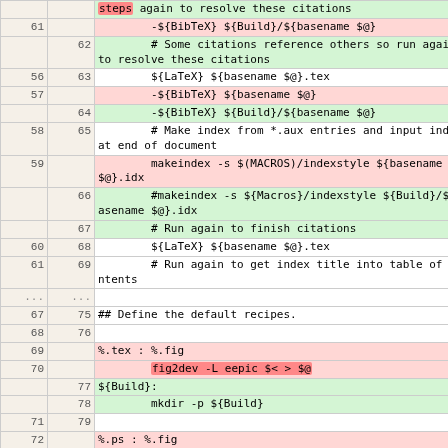| old | new | code |
| --- | --- | --- |
|  |  | steps again to resolve these citations |
| 61 |  | -${BibTeX} ${Build}/${basename $@} |
|  | 62 | # Some citations reference others so run again to resolve these citations |
| 56 | 63 | ${LaTeX} ${basename $@}.tex |
| 57 |  | -${BibTeX} ${basename $@} |
|  | 64 | -${BibTeX} ${Build}/${basename $@} |
| 58 | 65 | # Make index from *.aux entries and input index at end of document |
| 59 |  | makeindex -s $(MACROS)/indexstyle ${basename $@}.idx |
|  | 66 | #makeindex -s ${Macros}/indexstyle ${Build}/${basename $@}.idx |
|  | 67 | # Run again to finish citations |
| 60 | 68 | ${LaTeX} ${basename $@}.tex |
| 61 | 69 | # Run again to get index title into table of contents |
| ... | ... |  |
| 67 | 75 | ## Define the default recipes. |
| 68 | 76 |  |
| 69 |  | %.tex : %.fig |
| 70 |  |         fig2dev -L eepic $< > $@ |
|  | 77 | ${Build}: |
|  | 78 |         mkdir -p ${Build} |
| 71 | 79 |  |
| 72 |  | %.ps : %.fig |
| 73 |  |         fig2dev -L ps $< > $@ |
|  | 80 | %.tex : %.fig | ${Build} |
|  | 81 |         fig2dev -L eepic $< > ${Build}/$@ |
| 74 | 82 |  |
| 75 |  | %.pstex : %.fig |
| 76 |  |         fig2dev -L pstex $< > $@ |
| 77 |  |         fig2dev -L pstex_t ... |